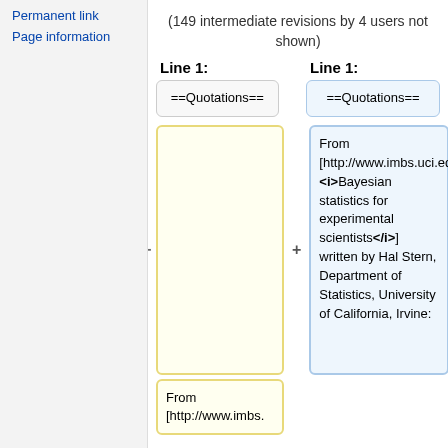Permanent link
Page information
(149 intermediate revisions by 4 users not shown)
Line 1: (left column header)
Line 1: (right column header)
==Quotations==
==Quotations==
From [http://www.imbs.uci.edu/Stern.pdf <i>Bayesian statistics for experimental scientists</i>] written by Hal Stern, Department of Statistics, University of California, Irvine:
From [http://www.imbs.